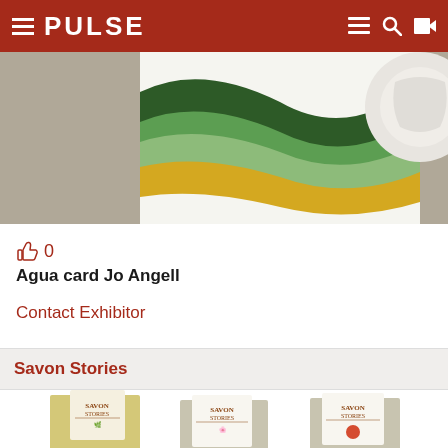PULSE
[Figure (photo): Overhead photo of a colorful art print card showing abstract wavy stripes in green, dark green, and golden yellow colors, partially visible on a gray surface, with a white textured circular object at the right edge.]
👍 0
Agua card Jo Angell
Contact Exhibitor
Savon Stories
[Figure (photo): Three Savon Stories branded soap bars with botanical illustration packaging, each featuring different herbs and flowers, displayed at the bottom of the page.]